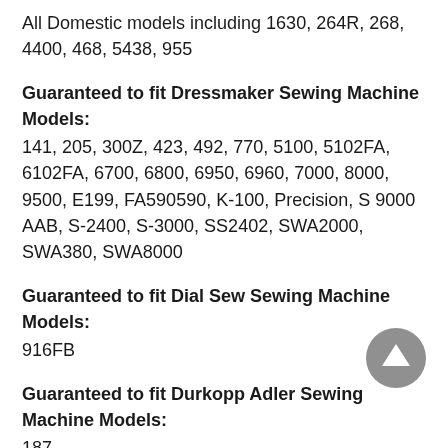All Domestic models including 1630, 264R, 268, 4400, 468, 5438, 955
Guaranteed to fit Dressmaker Sewing Machine Models:
141, 205, 300Z, 423, 492, 770, 5100, 5102FA, 6102FA, 6700, 6800, 6950, 6960, 7000, 8000, 9500, E199, FA590590, K-100, Precision, S 9000 AAB, S-2400, S-3000, SS2402, SWA2000, SWA380, SWA8000
Guaranteed to fit Dial Sew Sewing Machine Models:
916FB
Guaranteed to fit Durkopp Adler Sewing Machine Models:
187
Guaranteed to fit Elna Sewing Machine Models:
110, 120, 130, 140, 149, 150, 200, 255, 2600, 320 eXplore, 340 eXplore, 3230, 400 Contessa, 410 Contessa, 450